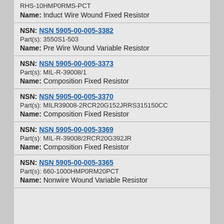Name: Induct Wire Wound Fixed Resistor
NSN: NSN 5905-00-005-3382
Part(s): 3550S1-503
Name: Pre Wire Wound Variable Resistor
NSN: NSN 5905-00-005-3373
Part(s): MIL-R-39008/1
Name: Composition Fixed Resistor
NSN: NSN 5905-00-005-3370
Part(s): MILR39008-2RCR20G152JRRS315150CC
Name: Composition Fixed Resistor
NSN: NSN 5905-00-005-3369
Part(s): MIL-R-39008/2RCR20G392JR
Name: Composition Fixed Resistor
NSN: NSN 5905-00-005-3365
Part(s): 660-1000HMP0RM20PCT
Name: Nonwire Wound Variable Resistor